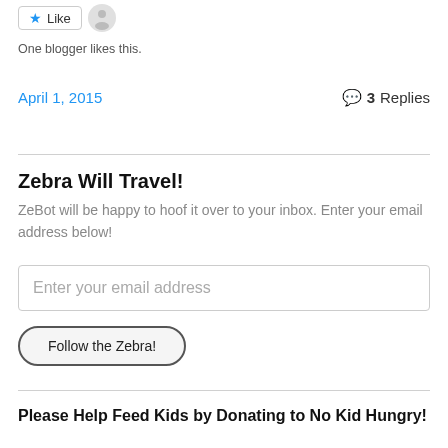[Figure (other): Like button with star icon and a small avatar photo next to it]
One blogger likes this.
April 1, 2015    💬 3 Replies
Zebra Will Travel!
ZeBot will be happy to hoof it over to your inbox. Enter your email address below!
Enter your email address
Follow the Zebra!
Please Help Feed Kids by Donating to No Kid Hungry!